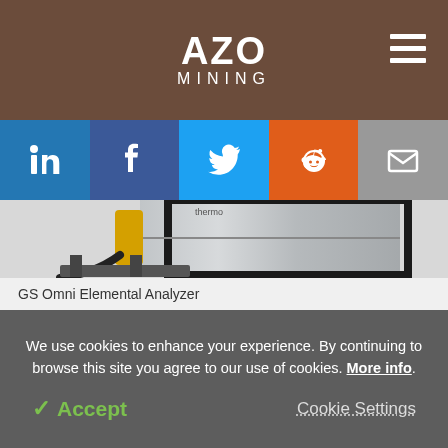AZO MINING
[Figure (logo): AZO Mining logo with white text on brown background]
[Figure (infographic): Social media share buttons: LinkedIn, Facebook, Twitter, Reddit, Email]
[Figure (photo): GS Omni Elemental Analyzer product photo showing industrial equipment with yellow hydraulic component and stainless steel body]
GS Omni Elemental Analyzer
We use cookies to enhance your experience. By continuing to browse this site you agree to our use of cookies. More info.
✓ Accept   Cookie Settings